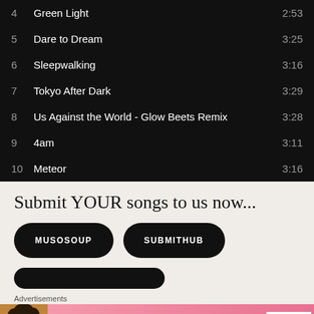4  Green Light  2:53
5  Dare to Dream  3:25
6  Sleepwalking  3:16
7  Tokyo After Dark  3:29
8  Us Against the World - Glow Beets Remix  3:28
9  4am  3:11
10  Meteor  3:16
Submit YOUR songs to us now...
[Figure (other): Two pill-shaped black buttons: MUSOSOUP and SUBMITHUB]
[Figure (other): Partial black pill-shaped button at bottom]
Advertisements
[Figure (other): Victoria's Secret advertisement banner: SHOP THE COLLECTION - SHOP NOW]